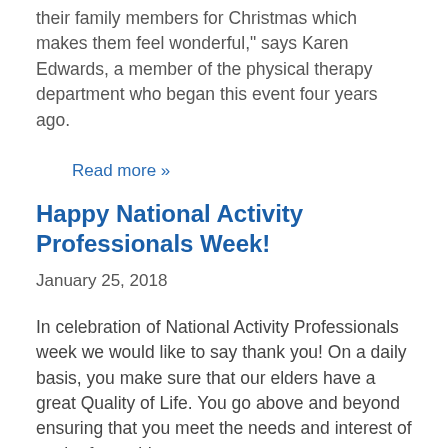their family members for Christmas which makes them feel wonderful," says Karen Edwards, a member of the physical therapy department who began this event four years ago.
Read more »
Happy National Activity Professionals Week!
January 25, 2018
In celebration of National Activity Professionals week we would like to say thank you! On a daily basis, you make sure that our elders have a great Quality of Life. You go above and beyond ensuring that you meet the needs and interest of each of our elders.
Thank you for your continued dedication and commitment to our elders at Signature HealthCARE of